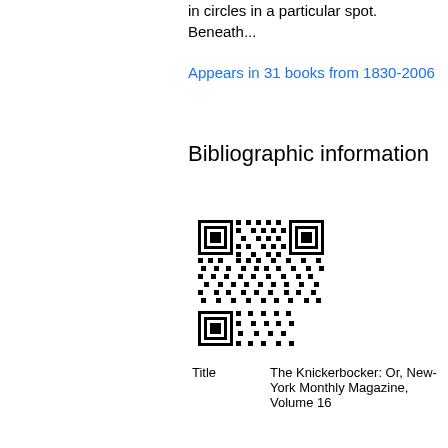in circles in a particular spot. Beneath...
Appears in 31 books from 1830-2006
Bibliographic information
[Figure (other): QR code image]
| Title | The Knickerbocker: Or, New-York Monthly Magazine, Volume 16 |